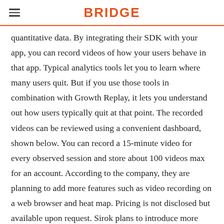BRIDGE
quantitative data. By integrating their SDK with your app, you can record videos of how your users behave in that app. Typical analytics tools let you to learn where many users quit. But if you use those tools in combination with Growth Replay, it lets you understand out how users typically quit at that point. The recorded videos can be reviewed using a convenient dashboard, shown below. You can record a 15-minute video for every observed session and store about 100 videos max for an account. According to the company, they are planning to add more features such as video recording on a web browser and heat map. Pricing is not disclosed but available upon request. Sirok plans to introduce more services in this space in the future, so expect to see more services from